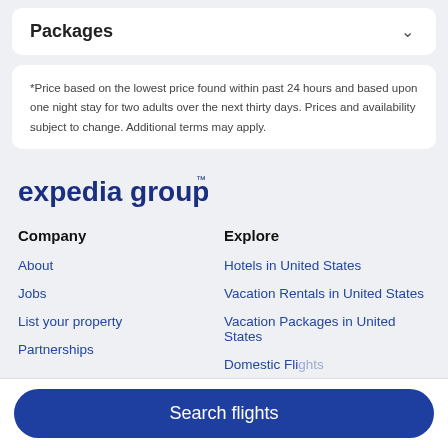Packages
*Price based on the lowest price found within past 24 hours and based upon one night stay for two adults over the next thirty days. Prices and availability subject to change. Additional terms may apply.
[Figure (logo): Expedia group logo in dark blue text]
Company
About
Jobs
List your property
Partnerships
Explore
Hotels in United States
Vacation Rentals in United States
Vacation Packages in United States
Search flights